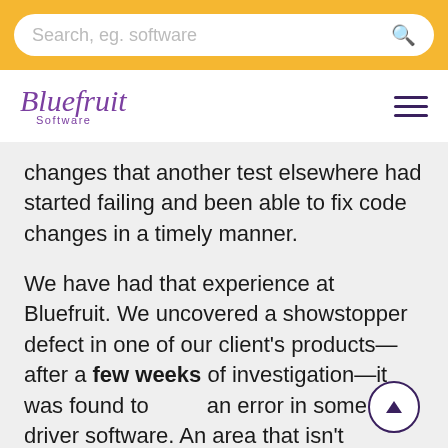Search, eg. software
[Figure (logo): Bluefruit Software logo in purple italic script]
changes that another test elsewhere had started failing and been able to fix code changes in a timely manner.
We have had that experience at Bluefruit. We uncovered a showstopper defect in one of our client's products—after a few weeks of investigation—it was found to an error in some driver software. An area that isn't typically unit-tested. Had this been anywhere else, it would have been